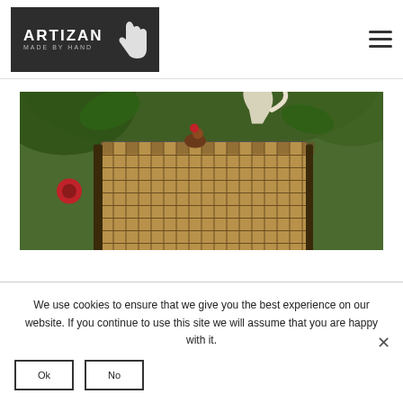[Figure (logo): Artizan Made By Hand logo with dark background, white bold text and hand print icon]
[Figure (photo): A woven checkered basket/box with antler and red flowers decoration, placed in a garden setting with green foliage]
We use cookies to ensure that we give you the best experience on our website. If you continue to use this site we will assume that you are happy with it.
Ok
No